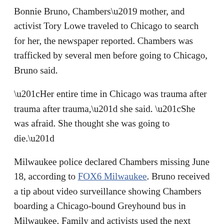Bonnie Bruno, Chambers' mother, and activist Tory Lowe traveled to Chicago to search for her, the newspaper reported. Chambers was trafficked by several men before going to Chicago, Bruno said.
“Her entire time in Chicago was trauma after trauma after trauma,” she said. “She was afraid. She thought she was going to die.”
Milwaukee police declared Chambers missing June 18, according to FOX6 Milwaukee. Bruno received a tip about video surveillance showing Chambers boarding a Chicago-bound Greyhound bus in Milwaukee. Family and activists used the next several days to track down every lead to find the teen.
“She is home, she is safe, she is loved,” Bruno said.